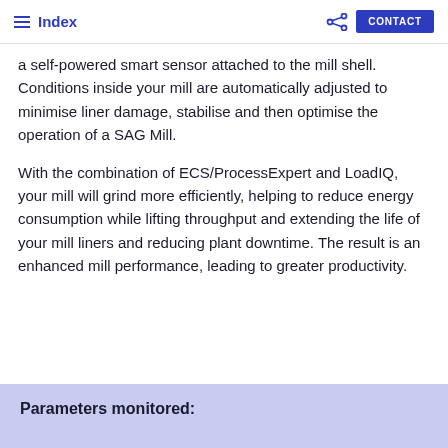Index | CONTACT
a self-powered smart sensor attached to the mill shell. Conditions inside your mill are automatically adjusted to minimise liner damage, stabilise and then optimise the operation of a SAG Mill.
With the combination of ECS/ProcessExpert and LoadIQ, your mill will grind more efficiently, helping to reduce energy consumption while lifting throughput and extending the life of your mill liners and reducing plant downtime. The result is an enhanced mill performance, leading to greater productivity.
Parameters monitored: